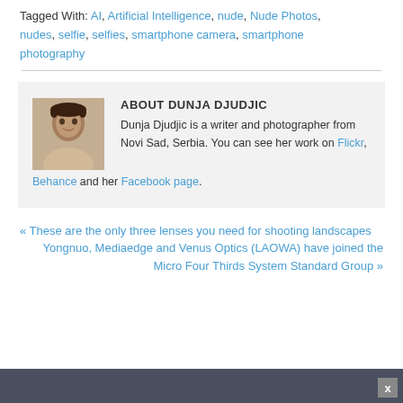Tagged With: AI, Artificial Intelligence, nude, Nude Photos, nudes, selfie, selfies, smartphone camera, smartphone photography
[Figure (photo): Portrait photo of Dunja Djudjic, a woman with dark hair]
ABOUT DUNJA DJUDJIC
Dunja Djudjic is a writer and photographer from Novi Sad, Serbia. You can see her work on Flickr, Behance and her Facebook page.
« These are the only three lenses you need for shooting landscapes
Yongnuo, Mediaedge and Venus Optics (LAOWA) have joined the Micro Four Thirds System Standard Group »